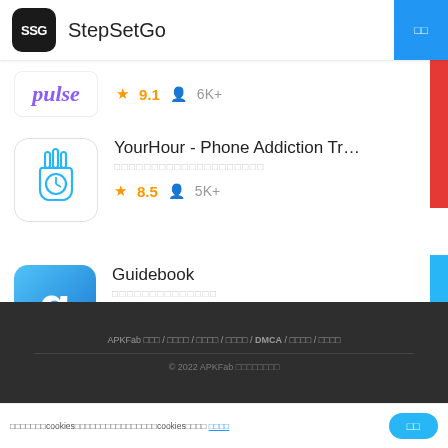StepSetGo
[Figure (logo): Pulse app logo - purple italic text 'pulse' on white background with rating 9.1 and 6K+ users]
[Figure (logo): YourHour - Phone Addiction Tracker & Con... app icon with hand and clock symbol, rating 8.5, 5K+ users]
YourHour - Phone Addiction Tracker & Con...
★9.1  👤6K+
[Figure (logo): Guidebook app icon - blue gradient with letter G, rating 8.0, 296 users]
Guidebook
★8.0  👤296
APKFab □□□ / □□□□ / □□□□ / □□□□ / DMCA / □□□□ / □□□□
© 2022 APKFab □□□□□□□□
□□□□□□□cookies□□□□□□□□□□□□□□□□cookies□□□□ □□□□